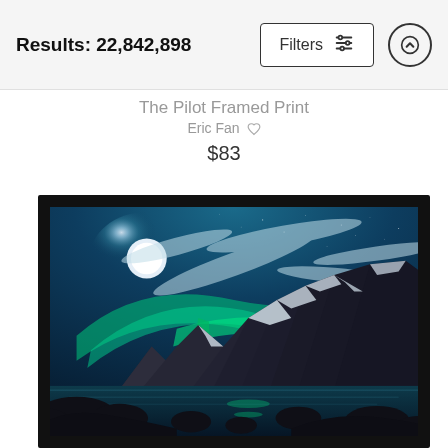Results: 22,842,898
The Pilot Framed Print
Eric Fan
$83
[Figure (photo): A framed print showing northern lights (aurora borealis) over snow-capped mountains and a reflective lake, with a bright moon in a deep teal/blue night sky. The frame is black with a white mat border.]